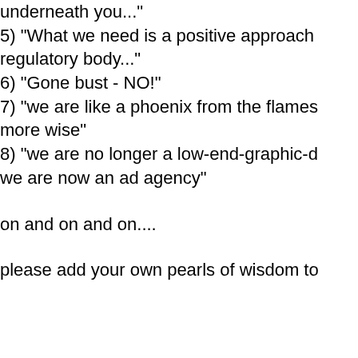underneath you...
5) "What we need is a positive approach regulatory body..."
6) "Gone bust - NO!"
7) "we are like a phoenix from the flames more wise"
8) "we are no longer a low-end-graphic-d we are now an ad agency"
on and on and on....
please add your own pearls of wisdom to
disclaimer - all sent in best possible taste
>Bumped into Mr B last nite, [memo to se bathroom
>dept in future]and talked to him about th